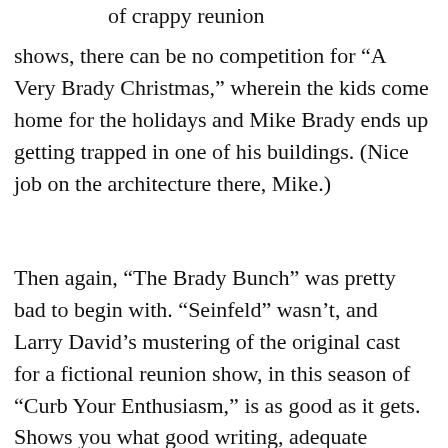of crappy reunion shows, there can be no competition for “A Very Brady Christmas,” wherein the kids come home for the holidays and Mike Brady ends up getting trapped in one of his buildings. (Nice job on the architecture there, Mike.)
Then again, “The Brady Bunch” was pretty bad to begin with. “Seinfeld” wasn’t, and Larry David’s mustering of the original cast for a fictional reunion show, in this season of “Curb Your Enthusiasm,” is as good as it gets. Shows you what good writing, adequate rehearsal and great comedic talent can do in the fullness of time. It also shows, by comparison, how tired and lame the real “Seinfeld” finale was in 1998